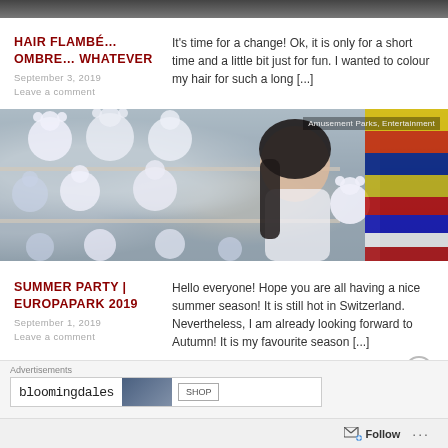[Figure (photo): Cropped top portion of a photo, dark tones]
HAIR FLAMBÉ… OMBRE… WHATEVER
September  3,  2019
Leave  a  comment
It's time for a change! Ok, it is only for a short time and a little bit just for fun. I wanted to colour my hair for such a long [...]
[Figure (photo): Woman with dark hair among white stuffed bear toys at an amusement park, with colorful flags on the right. Tag reads: Amusement Parks, Entertainment]
SUMMER PARTY | EUROPAPARK 2019
September  1,  2019
Leave  a  comment
Hello everyone! Hope you are all having a nice summer season! It is still hot in Switzerland. Nevertheless, I am already looking forward to Autumn! It is my favourite season [...]
Advertisements
[Figure (photo): Bloomingdale's advertisement banner with shop button]